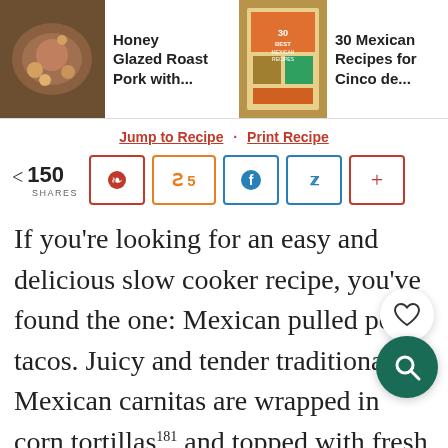[Figure (screenshot): Top navigation bar with food recipe thumbnails: Honey Glazed Roast Pork with..., 30 Mexican Recipes for Cinco de..., and partially visible Shrimp Taco Salad with a search icon]
Jump to Recipe · Print Recipe
< 150 SHARES [Pinterest] [Yummly 5] [Facebook] [Twitter] [+]
If you're looking for an easy and delicious slow cooker recipe, you've found the one: Mexican pulled pork tacos. Juicy and tender traditional Mexican carnitas are wrapped in corn tortillas181 and topped with fresh onions, cilantro, and jalapeños. They are flavorful, savory, and a little spicy. Host a fiesta with a self-serve taco bar friends and family to make their own tacos, and you'll see just how popular these slow cooker